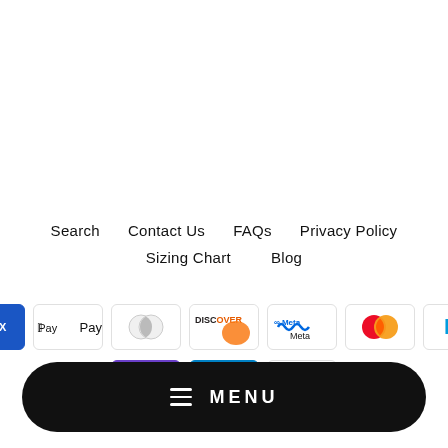Search   Contact Us   FAQs   Privacy Policy   Sizing Chart   Blog
[Figure (other): Payment method icons: American Express, Apple Pay, Diners Club, Discover, Meta Pay, Mastercard, PayPal, OPay, Venmo, Visa]
≡ MENU